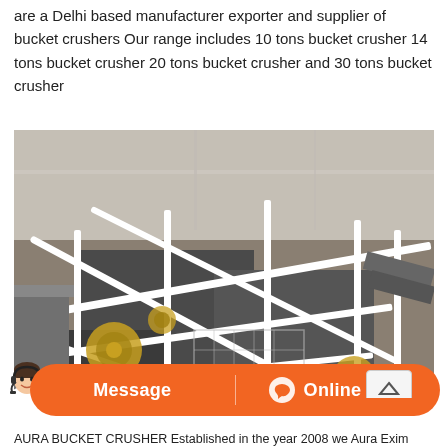are a Delhi based manufacturer exporter and supplier of bucket crushers Our range includes 10 tons bucket crusher 14 tons bucket crusher 20 tons bucket crusher and 30 tons bucket crusher
[Figure (photo): Aerial view of industrial bucket crusher machinery at a construction or mining site. White metal scaffolding and conveyor belt structures visible with rocky/sandy ground below.]
Message   Online Chat
AURA BUCKET CRUSHER Established in the year 2008 we Aura Exim